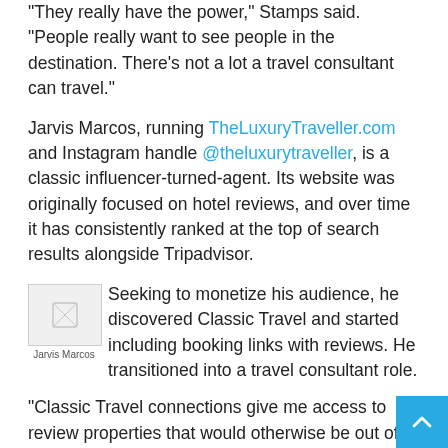"They really have the power," Stamps said. "People really want to see people in the destination. There's not a lot a travel consultant can travel."
Jarvis Marcos, running TheLuxuryTraveller.com and Instagram handle @theluxurytraveller, is a classic influencer-turned-agent. Its website was originally focused on hotel reviews, and over time it has consistently ranked at the top of search results alongside Tripadvisor.
[Figure (photo): Small thumbnail image of Jarvis Marcos with caption 'Jarvis Marcos']
Seeking to monetize his audience, he discovered Classic Travel and started including booking links with reviews. He transitioned into a travel consultant role.
"Classic Travel connections give me access to review properties that would otherwise be out of reach," Marcos said. "Meanwhile, Classic Travel is able to share the monetization of my highly engaged audience of luxury travelers."